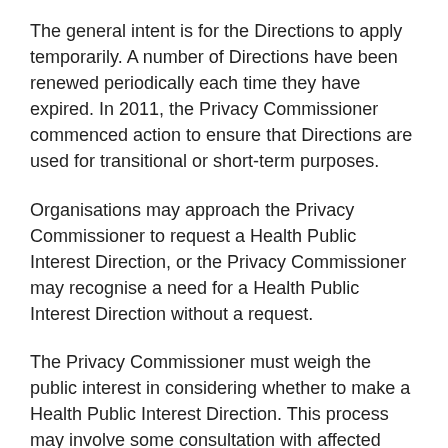The general intent is for the Directions to apply temporarily. A number of Directions have been renewed periodically each time they have expired. In 2011, the Privacy Commissioner commenced action to ensure that Directions are used for transitional or short-term purposes.
Organisations may approach the Privacy Commissioner to request a Health Public Interest Direction, or the Privacy Commissioner may recognise a need for a Health Public Interest Direction without a request.
The Privacy Commissioner must weigh the public interest in considering whether to make a Health Public Interest Direction. This process may involve some consultation with affected parties, and the Privacy Commissioner may need to ask the agency or organisation concerned for more detailed information about their request and their reasons for seeking a public interest direction.